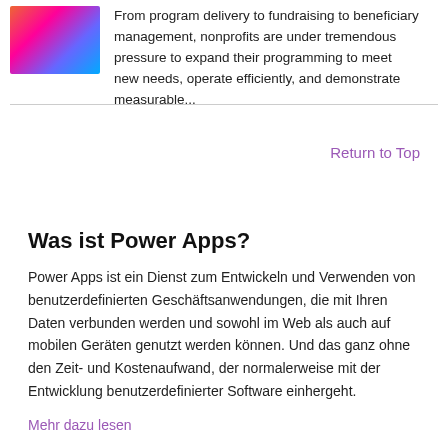[Figure (photo): Colorful abstract/rainbow image thumbnail in top-left corner]
From program delivery to fundraising to beneficiary management, nonprofits are under tremendous pressure to expand their programming to meet new needs, operate efficiently, and demonstrate measurable...
Return to Top
Was ist Power Apps?
Power Apps ist ein Dienst zum Entwickeln und Verwenden von benutzerdefinierten Geschäftsanwendungen, die mit Ihren Daten verbunden werden und sowohl im Web als auch auf mobilen Geräten genutzt werden können. Und das ganz ohne den Zeit- und Kostenaufwand, der normalerweise mit der Entwicklung benutzerdefinierter Software einhergeht.
Mehr dazu lesen